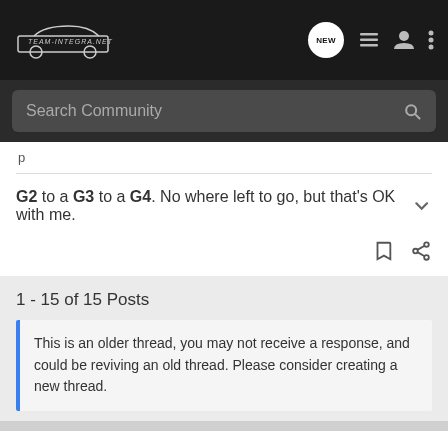Team-Integra.net — Search Community
G2 to a G3 to a G4. No where left to go, but that's OK with me.
1 - 15 of 15 Posts
This is an older thread, you may not receive a response, and could be reviving an old thread. Please consider creating a new thread.
Join the discussion